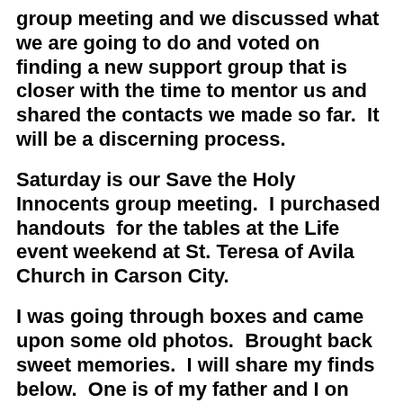group meeting and we discussed what we are going to do and voted on finding a new support group that is closer with the time to mentor us and shared the contacts we made so far.  It will be a discerning process.
Saturday is our Save the Holy Innocents group meeting.  I purchased handouts  for the tables at the Life event weekend at St. Teresa of Avila Church in Carson City.
I was going through boxes and came upon some old photos.  Brought back sweet memories.  I will share my finds below.  One is of my father and I on vacation in Santa Cruz.  It was a special day for a four year old girl with one year old twin brothers that took most of my parents time.  Daddy took me on a walk down the pier and we shared shrimp out of a